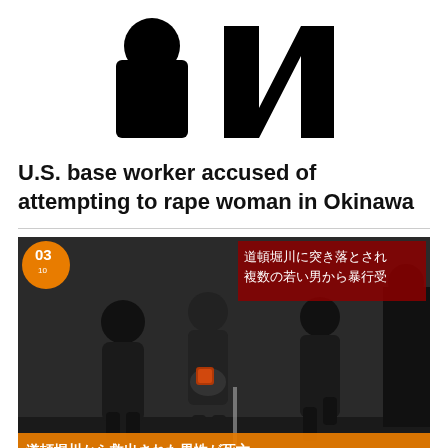[Figure (logo): NHK or news network logo — stylized black letters/symbols on white background]
U.S. base worker accused of attempting to rape woman in Okinawa
[Figure (photo): News broadcast screenshot showing people in dark clothing on a street at night, with Japanese text overlay at bottom reading 道頓堀川から救出された男性が死亡, and upper right overlay with Japanese text 道頓堀川に突き落とされ複数の若い男から暴行受, channel bug showing 03 in orange circle]